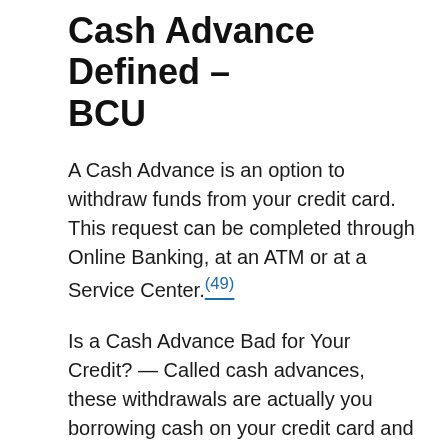Cash Advance Defined – BCU
A Cash Advance is an option to withdraw funds from your credit card. This request can be completed through Online Banking, at an ATM or at a Service Center.(49)
Is a Cash Advance Bad for Your Credit? — Called cash advances, these withdrawals are actually you borrowing cash on your credit card and must be … (50)
Your Regions credit card may be used for cash advance. Visit our online FAQs page for more information on cash advance fees and interest rates.(51)